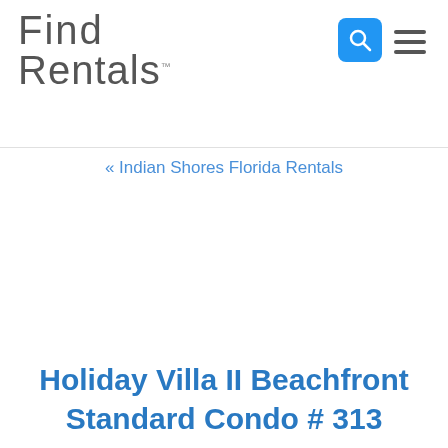Find Rentals
« Indian Shores Florida Rentals
Holiday Villa II Beachfront Standard Condo # 313